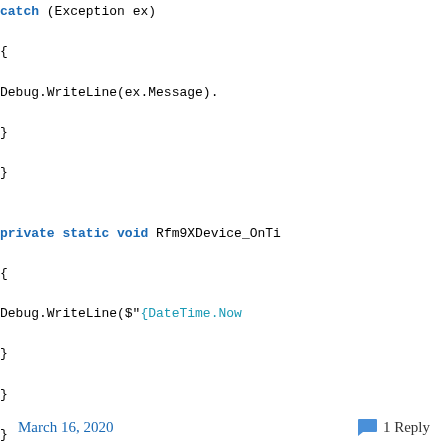catch (Exception ex)
    {
        Debug.WriteLine(ex.Message).
    }
}

private static void Rfm9XDevice_OnTi
{
    Debug.WriteLine($"{DateTime.Now
}
}
The addressing support is pretty basic as my goal was a library that I could extend with optional functionality like tamper detection via signing and privacy via payload encryption, mesh network support etc.
The library works but should be treated as late beta.
March 16, 2020   1 Reply